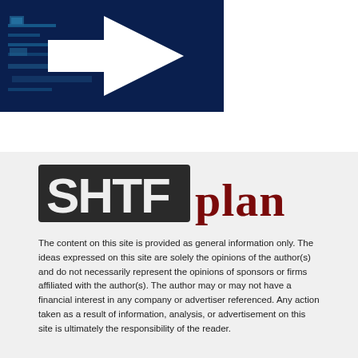[Figure (illustration): Dark blue banner with a white arrow pointing right, with circuit board pattern elements in background]
[Figure (logo): SHTFplan logo with 'SHTF' in bold distressed black stamp-style letters and 'plan' in dark red serif font]
The content on this site is provided as general information only. The ideas expressed on this site are solely the opinions of the author(s) and do not necessarily represent the opinions of sponsors or firms affiliated with the author(s). The author may or may not have a financial interest in any company or advertiser referenced. Any action taken as a result of information, analysis, or advertisement on this site is ultimately the responsibility of the reader.